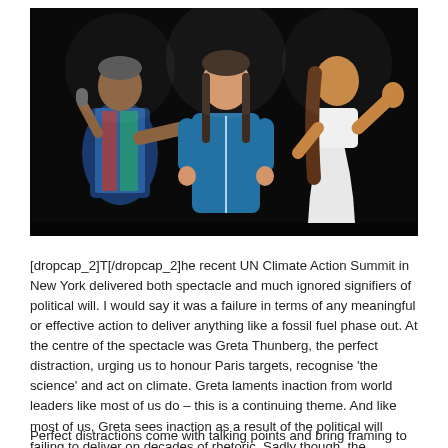[Figure (photo): Three people on a dark stage: an older man on the left pointing with a microphone, a young girl with braids in a blue hoodie in the center, and a woman in a white dress on the right with her hand raised.]
[dropcap_2]T[/dropcap_2]he recent UN Climate Action Summit in New York delivered both spectacle and much ignored signifiers of political will. I would say it was a failure in terms of any meaningful or effective action to deliver anything like a fossil fuel phase out. At the centre of the spectacle was Greta Thunberg, the perfect distraction, urging us to honour Paris targets, recognise 'the science' and act on climate. Greta laments inaction from world leaders like most of us do – this is a continuing theme. And like most of us, Greta sees inaction as a result of the political will failing to deliver on decades of rhetoric. Sadly though, the mitigation plans of the powerful, the key signifiers of political will for continued relentless extractivism never enter the public conversation.
Perfect distractions come with talking points and bring framing to the